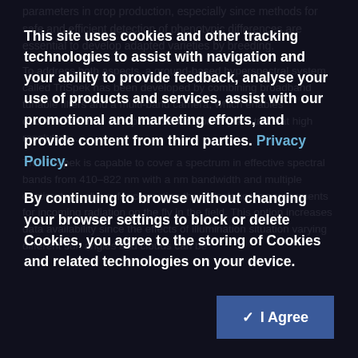parameters in crop production, especially since methods for safe and efficient detection of phenotypic differences are essential to develop adapted varieties by breeding.
To address both aspects, a ground-based hyperspectral system called TriSpek has been developed by combining broadband tunable filters and a multi-band camera, which enables documentation of...
This site uses cookies and other tracking technologies to assist with navigation and your ability to provide feedback, analyse your use of products and services, assist with our promotional and marketing efforts, and provide content from third parties. Privacy Policy.
By continuing to browse without changing your browser settings to block or delete Cookies, you agree to the storing of Cookies and related technologies on your device.
The TriSpek is capable to cover a spectrum in effective spectral bands from 410-822 nm with a nm bandwidth and multiple centimeters, allows for correcting the reflectance measurements for incoming radiation on the fly in the field. This option increases data availability since the effects of illumination situation varying different sun angles and clouds can be